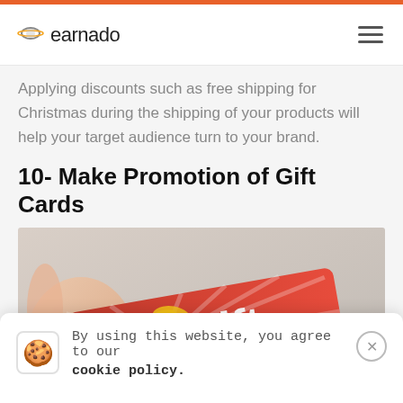earnado
Applying discounts such as free shipping for Christmas during the shipping of your products will help your target audience turn to your brand.
10- Make Promotion of Gift Cards
[Figure (photo): Hands holding a red gift card with a gold ribbon bow, with the text 'gift card' visible on the card.]
By using this website, you agree to our cookie policy.